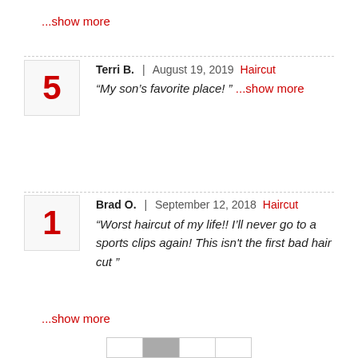...show more
Terri B.  August 19, 2019  Haircut
"My son’s favorite place! " ...show more
Brad O.  September 12, 2018  Haircut
"Worst haircut of my life!! I’ll never go to a sports clips again! This isn't the first bad hair cut "
...show more